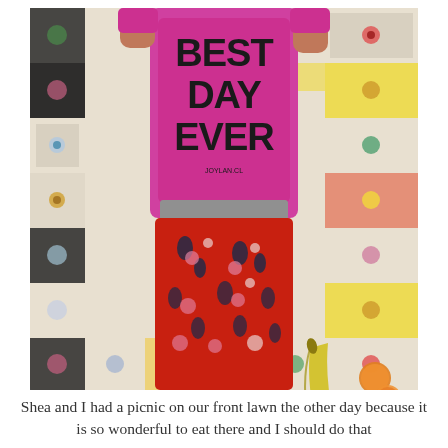[Figure (photo): Overhead flat-lay photo of a child lying on a colorful crocheted granny-square blanket. The child wears a bright pink sweatshirt reading 'BEST DAY EVER' in bold black letters, and red floral-print pants. Beside the child on the blanket are a yellow banana and small orange tangerines. The blanket has colorful crocheted squares in white, yellow, orange, red, blue, gray, and pink patterns.]
Shea and I had a picnic on our front lawn the other day because it is so wonderful to eat there and I should do that